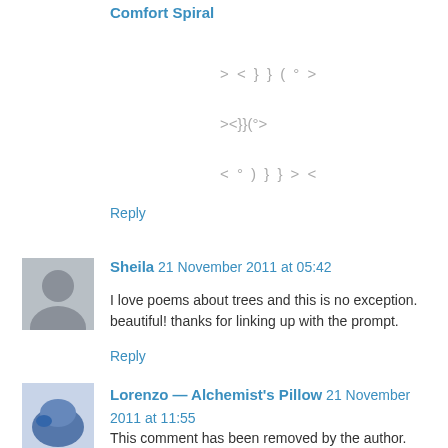Comfort Spiral
> < } } ( ° >
><}}(°>
< ° ) } } > <
Reply
Sheila  21 November 2011 at 05:42
I love poems about trees and this is no exception. beautiful! thanks for linking up with the prompt.
Reply
Lorenzo — Alchemist's Pillow  21 November 2011 at 11:55
This comment has been removed by the author.
Reply